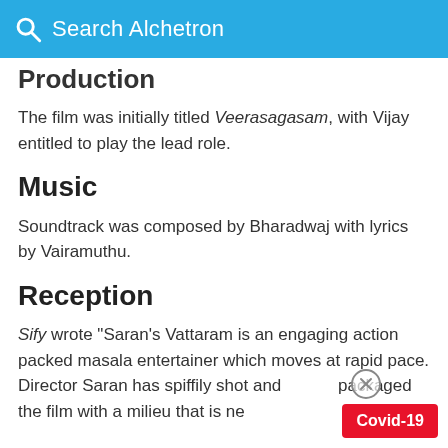Search Alchetron
Production
The film was initially titled Veerasagasam, with Vijay entitled to play the lead role.
Music
Soundtrack was composed by Bharadwaj with lyrics by Vairamuthu.
Reception
Sify wrote "Saran's Vattaram is an engaging action packed masala entertainer which moves at rapid pace. Director Saran has spiffily shot and packaged the film with a milieu that is ne...